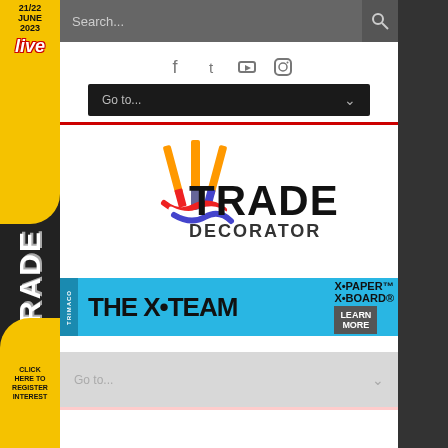[Figure (screenshot): Website screenshot of Trade Decorator website with search bar, social icons, navigation dropdown, Trade Decorator logo with paint brushes, Trimaco X-Team banner ad, and bottom navigation dropdown. Left sidebar shows Trade Live event advertisement for 21/22 June 2023 with click to register interest. Right sidebar is dark.]
Search...
Go to...
[Figure (logo): Trade Decorator logo featuring three paint brushes with red, white and blue paint stripes, and bold text reading TRADE DECORATOR]
[Figure (infographic): Trimaco THE X·TEAM banner ad in cyan/blue color with X·PAPER and X·BOARD product names and LEARN MORE button]
Go to...